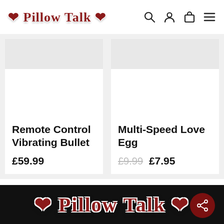❤ Pillow Talk ❤
Remote Control Vibrating Bullet £59.99
Multi-Speed Love Egg £9.99 £7.95
[Figure (logo): Pillow Talk logo in dark red bold serif font with heart symbols on black background]
[Figure (other): Share icon button — dark red circle with share/network icon]